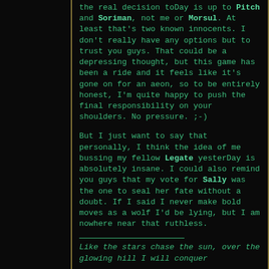the real decision toDay is up to Pitch and Soriman, not me or Morsul. At least that's two known innocents. I don't really have any options but to trust you guys. That could be a depressing thought, but this game has been a ride and it feels like it's gone on for an aeon, so to be entirely honest, I'm quite happy to push the final responsibility on your shoulders. No pressure. ;-)
But I just want to say that personally, I think the idea of me bussing my fellow Legate yesterDay is absolutely insane. I could also remind you guys that my vote for Sally was the one to seal her fate without a doubt. If I said I never make bold moves as a wolf I'd be lying, but I am nowhere near that ruthless.
Like the stars chase the sun, over the glowing hill I will conquer